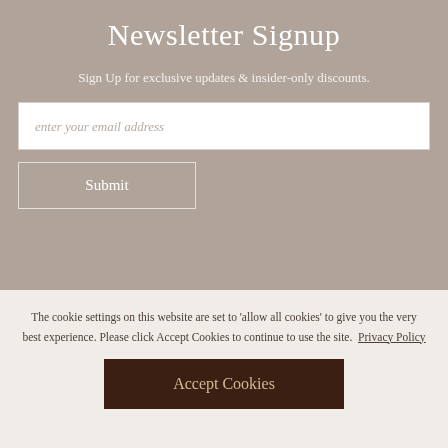Newsletter Signup
Sign Up for exclusive updates & insider-only discounts.
enter your email address
Submit
The cookie settings on this website are set to 'allow all cookies' to give you the very best experience. Please click Accept Cookies to continue to use the site.  Privacy Policy
Accept Cookies